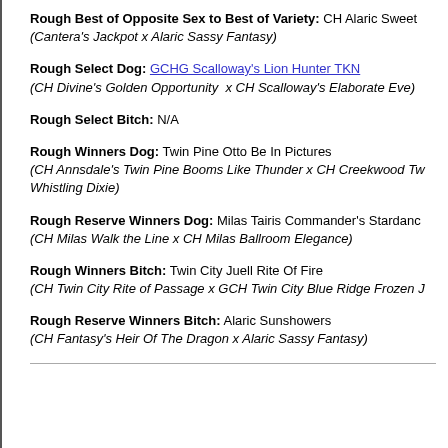Rough Best of Opposite Sex to Best of Variety: CH Alaric Sweet (Cantera's Jackpot x Alaric Sassy Fantasy)
Rough Select Dog: GCHG Scalloway's Lion Hunter TKN (CH Divine's Golden Opportunity  x CH Scalloway's Elaborate Eve)
Rough Select Bitch: N/A
Rough Winners Dog: Twin Pine Otto Be In Pictures (CH Annsdale's Twin Pine Booms Like Thunder x CH Creekwood Tw Whistling Dixie)
Rough Reserve Winners Dog: Milas Tairis Commander's Stardance (CH Milas Walk the Line x CH Milas Ballroom Elegance)
Rough Winners Bitch: Twin City Juell Rite Of Fire (CH Twin City Rite of Passage x GCH Twin City Blue Ridge Frozen J)
Rough Reserve Winners Bitch: Alaric Sunshowers (CH Fantasy's Heir Of The Dragon x Alaric Sassy Fantasy)